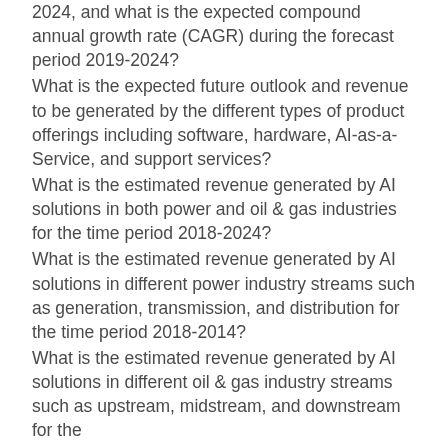2024, and what is the expected compound annual growth rate (CAGR) during the forecast period 2019-2024?
What is the expected future outlook and revenue to be generated by the different types of product offerings including software, hardware, AI-as-a-Service, and support services?
What is the estimated revenue generated by AI solutions in both power and oil & gas industries for the time period 2018-2024?
What is the estimated revenue generated by AI solutions in different power industry streams such as generation, transmission, and distribution for the time period 2018-2014?
What is the estimated revenue generated by AI solutions in different oil & gas industry streams such as upstream, midstream, and downstream for the